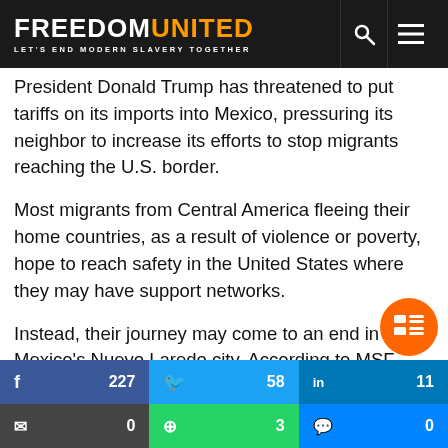FREEDOM UNITED — LET'S END MODERN SLAVERY TOGETHER
President Donald Trump has threatened to put tariffs on its imports into Mexico, pressuring its neighbor to increase its efforts to stop migrants reaching the U.S. border.
Most migrants from Central America fleeing their home countries, as a result of violence or poverty, hope to reach safety in the United States where they may have support networks.
Instead, their journey may come to an end in Mexico's Nuevo Laredo city. According to MSF, nearly 80% of migrants treated in Nuevo Laredo in the first nine months of 2019 were victims of kidnapping or oth…
Facebook 227 | Twitter 58 | LinkedIn 11 | Email 0 | WhatsApp 3 | Messenger 0